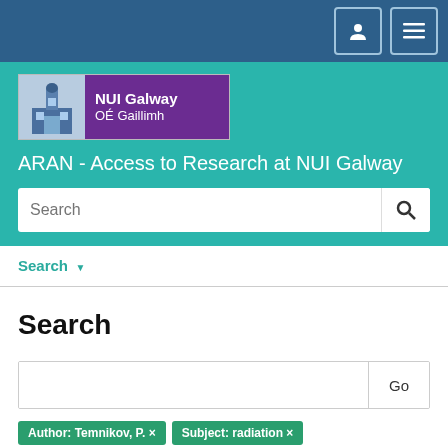[Figure (logo): NUI Galway / OÉ Gaillimh university logo with building illustration and purple text panel]
ARAN - Access to Research at NUI Galway
Search (navigation link with dropdown)
Search
Search input with Go button
Author: Temnikov, P. ×
Subject: radiation ×